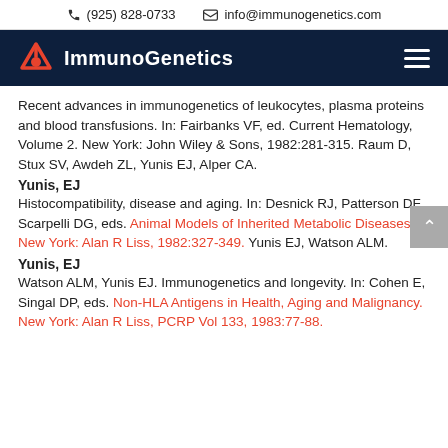(925) 828-0733   info@immunogenetics.com
[Figure (logo): ImmunoGenetics logo with navigation bar on dark navy background]
Recent advances in immunogenetics of leukocytes, plasma proteins and blood transfusions. In: Fairbanks VF, ed. Current Hematology, Volume 2. New York: John Wiley & Sons, 1982:281-315. Raum D, Stux SV, Awdeh ZL, Yunis EJ, Alper CA.
Yunis, EJ
Histocompatibility, disease and aging. In: Desnick RJ, Patterson DF, Scarpelli DG, eds. Animal Models of Inherited Metabolic Diseases. New York: Alan R Liss, 1982:327-349. Yunis EJ, Watson ALM.
Yunis, EJ
Watson ALM, Yunis EJ. Immunogenetics and longevity. In: Cohen E, Singal DP, eds. Non-HLA Antigens in Health, Aging and Malignancy. New York: Alan R Liss, PCRP Vol 133, 1983:77-88.